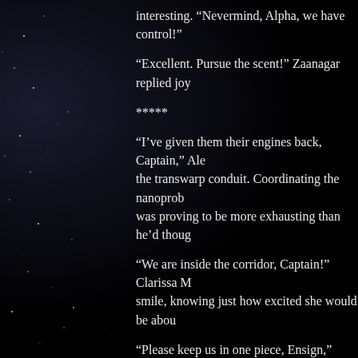interesting. “Nevermind, Alpha, we have control!”
“Excellent. Pursue the scent!” Zaanagar replied joy…
*****
“I’ve given them their engines back, Captain,” Ale… the transwarp conduit. Coordinating the nanoprob… was proving to be more exhausting than he’d thoug…
“We are inside the corridor, Captain!” Clarissa M… smile, knowing just how excited she would be abou…
“Please keep us in one piece, Ensign,” Captain Sh…
“I will, sir,” Clarissa promised. Alex felt the ship… dampers performed admirably. A quick consultati… they were going, and Alex had to suppress a childi…
“The Hirogen vessel has entered the corridor,” K… closing fast.”